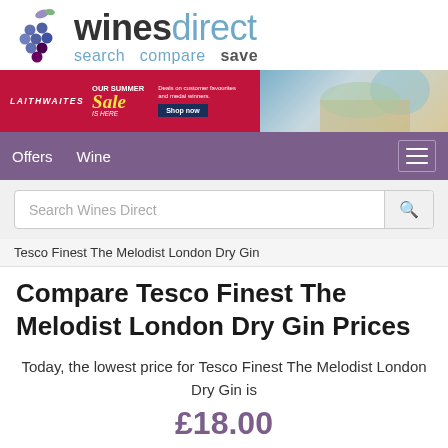[Figure (logo): WinesDirect logo with grape cluster icon and tagline 'search compare save']
[Figure (photo): Laithwaites Summer Sale banner advertisement]
Offers   Wine
Search Wines Direct
Tesco Finest The Melodist London Dry Gin
Compare Tesco Finest The Melodist London Dry Gin Prices
Today, the lowest price for Tesco Finest The Melodist London Dry Gin is
£18.00